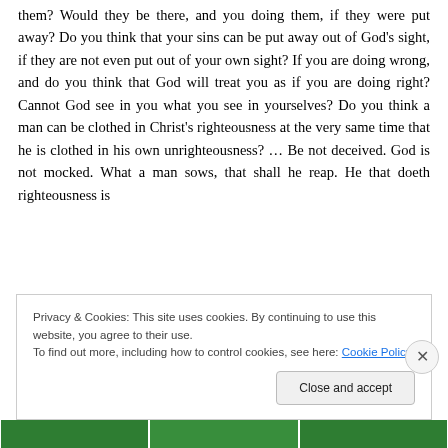them? Would they be there, and you doing them, if they were put away? Do you think that your sins can be put away out of God's sight, if they are not even put out of your own sight? If you are doing wrong, and do you think that God will treat you as if you are doing right? Cannot God see in you what you see in yourselves? Do you think a man can be clothed in Christ's righteousness at the very same time that he is clothed in his own unrighteousness? … Be not deceived. God is not mocked. What a man sows, that shall he reap. He that doeth righteousness is
Privacy & Cookies: This site uses cookies. By continuing to use this website, you agree to their use.
To find out more, including how to control cookies, see here: Cookie Policy